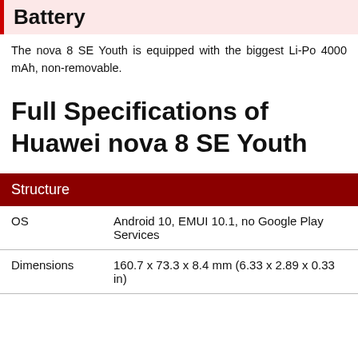Battery
The nova 8 SE Youth is equipped with the biggest Li-Po 4000 mAh, non-removable.
Full Specifications of Huawei nova 8 SE Youth
Structure
|  |  |
| --- | --- |
| OS | Android 10, EMUI 10.1, no Google Play Services |
| Dimensions | 160.7 x 73.3 x 8.4 mm (6.33 x 2.89 x 0.33 in) |